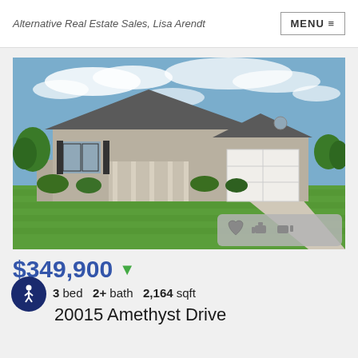Alternative Real Estate Sales, Lisa Arendt
[Figure (photo): Exterior photo of a single-story ranch-style home with gray siding, black shutters, front porch, two-car garage, and a large green lawn under a partly cloudy sky. Located at 20015 Amethyst Drive.]
$349,900 ▼
3 bed   2+ bath   2,164 sqft
20015 Amethyst Drive